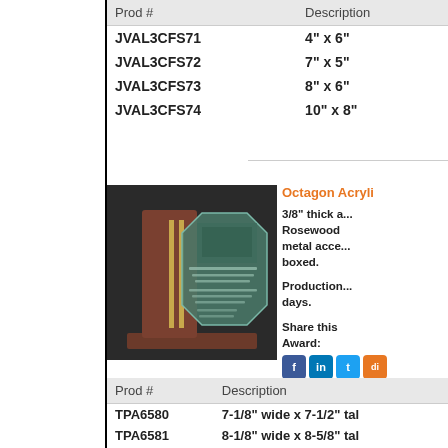| Prod # | Description |
| --- | --- |
| JVAL3CFS71 | 4" x 6" |
| JVAL3CFS72 | 7" x 5" |
| JVAL3CFS73 | 8" x 6" |
| JVAL3CFS74 | 10" x 8" |
[Figure (photo): Octagon Acrylic award with Rosewood finish base and metal accent bars, engraved with award text]
Octagon Acryli...
3/8" thick a... Rosewood metal acce... boxed.
Production... days.
Share this Award:
| Prod # | Description |
| --- | --- |
| TPA6580 | 7-1/8" wide x 7-1/2" tal... |
| TPA6581 | 8-1/8" wide x 8-5/8" tal... |